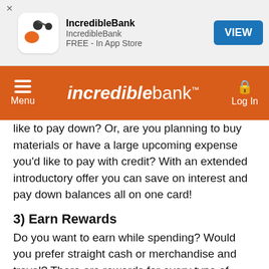[Figure (screenshot): IncredibleBank app store banner with logo icon, app name, and VIEW button]
[Figure (screenshot): IncredibleBank orange navigation bar with hamburger menu, logo, and Log In button]
like to pay down? Or, are you planning to buy materials or have a large upcoming expense you’d like to pay with credit? With an extended introductory offer you can save on interest and pay down balances all on one card!
3) Earn Rewards
Do you want to earn while spending? Would you prefer straight cash or merchandise and travel? There are rewards for every type of person and every type of spend history. IncredibleBank can help you find the best fit by looking at your spend history